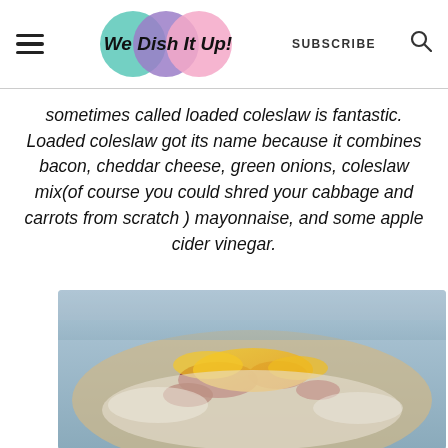We Dish It Up! | SUBSCRIBE
sometimes called loaded coleslaw is fantastic. Loaded coleslaw got its name because it combines bacon, cheddar cheese, green onions, coleslaw mix(of course you could shred your cabbage and carrots from scratch ) mayonnaise, and some apple cider vinegar.
[Figure (photo): Close-up blurred photo of loaded coleslaw with bacon, shredded cheese, and cabbage visible on a plate]